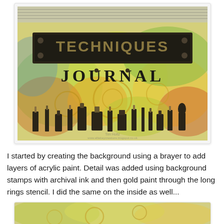[Figure (photo): A decorated art journal box with colorful mixed-media background created using a brayer and acrylic paint. The box has a dark metal-look plaque reading 'TECHNIQUES' at the top, and 'JOURNAL' text below it with art supply stamps (brushes, bottles, tools) along the bottom. The background shows layered yellow, green, orange, and blue acrylic paint with gold ring stencil patterns.]
I started by creating the background using a brayer to add layers of acrylic paint.  Detail was added using background stamps with archival ink and then gold paint through the long rings stencil.  I did the same on the inside as well...
[Figure (photo): Partial view of the inside of the decorated techniques journal, showing similar mixed-media background with yellow-green acrylic paint and gold ring stencil patterns.]